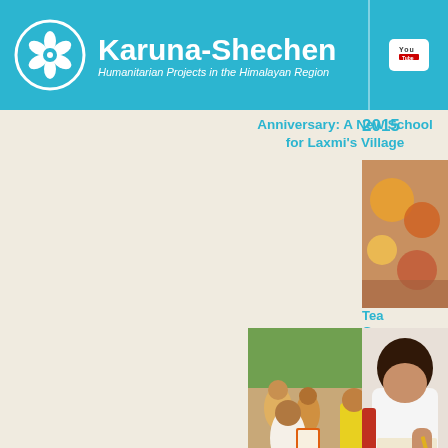Karuna-Shechen — Humanitarian Projects in the Himalayan Region
Anniversary: A New School for Laxmi's Village
2015
[Figure (photo): Colorful items photo partially visible]
Tea... Genera...
[Figure (photo): Mobile medical clinic scene in India — healthcare worker with clipboard amid crowd of villagers]
[Figure (photo): Child writing, partially visible]
Video: Our Mobile Medical Clinics in India
Focus...
[Figure (photo): Portrait photo partially visible at bottom]
[Figure (photo): Second portrait photo partially visible at bottom]